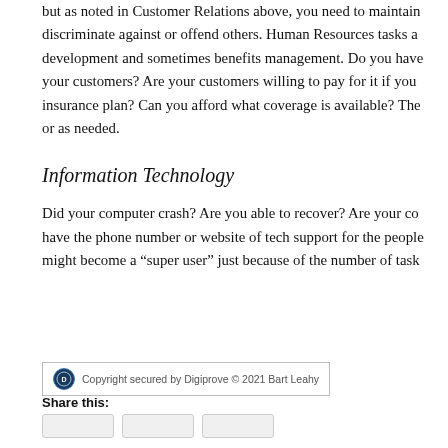but as noted in Customer Relations above, you need to maintain discriminate against or offend others. Human Resources tasks a development and sometimes benefits management. Do you have your customers? Are your customers willing to pay for it if you insurance plan? Can you afford what coverage is available? The or as needed.
Information Technology
Did your computer crash? Are you able to recover? Are your co have the phone number or website of tech support for the people might become a “super user” just because of the number of task
Copyright secured by Digiprove © 2021 Bart Leahy
Share this: